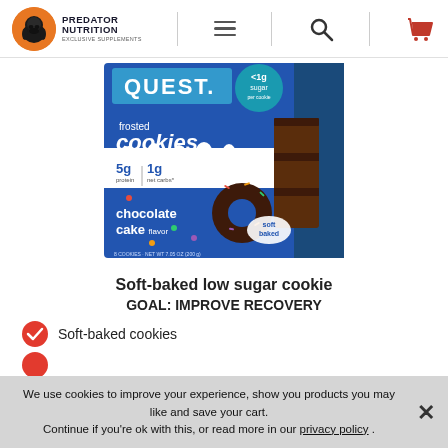Predator Nutrition - Exclusive Supplements
[Figure (photo): Quest Frosted Cookies box - Chocolate Cake flavor, showing 5g protein, 1g net carbs, less than 1g sugar, soft baked, 8 cookies]
Soft-baked low sugar cookie
GOAL: IMPROVE RECOVERY
Soft-baked cookies
[partially obscured list item]
We use cookies to improve your experience, show you products you may like and save your cart. Continue if you're ok with this, or read more in our privacy policy .